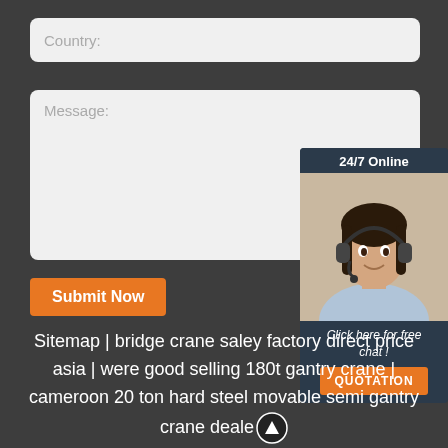Country:
Message:
Submit Now
[Figure (illustration): 24/7 Online chat widget with a female customer service agent wearing a headset, and a QUOTATION button at the bottom. Header reads '24/7 Online', text below image reads 'Click here for free chat!', and an orange button labeled 'QUOTATION'.]
Sitemap | bridge crane saley factory direct price asia | were good selling 180t gantry crane | cameroon 20 ton hard steel movable semi gantry crane deale